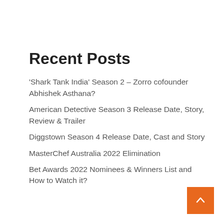Recent Posts
'Shark Tank India' Season 2 – Zorro cofounder Abhishek Asthana?
American Detective Season 3 Release Date, Story, Review & Trailer
Diggstown Season 4 Release Date, Cast and Story
MasterChef Australia 2022 Elimination
Bet Awards 2022 Nominees & Winners List and How to Watch it?